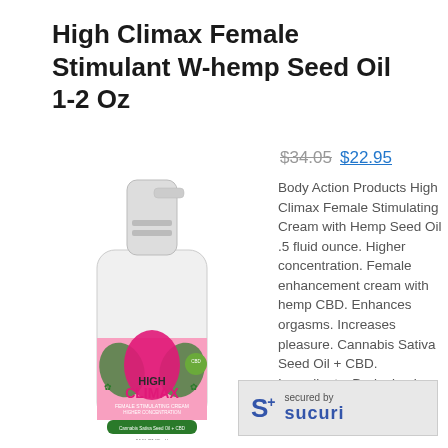High Climax Female Stimulant W-hemp Seed Oil 1-2 Oz
$34.05 $22.95
[Figure (photo): Product photo of High Climax Female Stimulating Cream pump bottle with hemp CBD, pink and green design, Cannabis Sativa Seed Oil + CBD label]
Body Action Products High Climax Female Stimulating Cream with Hemp Seed Oil .5 fluid ounce. Higher concentration. Female enhancement cream with hemp CBD. Enhances orgasms. Increases pleasure. Cannabis Sativa Seed Oil + CBD. Ingredients: De-ionized Water, Aloe Barbad... Gel Jui... Cetyl Al... Glycerin,
[Figure (logo): Sucuri security badge: S+ logo with 'secured by sucuri' text]